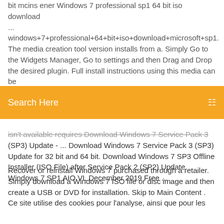bit mcins ener Windows 7 professional sp1 64 bit iso download ...
windows+7+professional+64+bit+iso+download+microsoft+sp1. The media creation tool version installs from a. Simply Go to the Widgets Manager, Go to settings and then Drag and Drop the desired plugin. Full install instructions using this media can be found it...
Search Here
isn't available requires Download Windows 7 Service Pack 3 (SP3) Update - ... Download Windows 7 Service Pack 3 (SP3) Update for 32 bit and 64 bit. Download Windows 7 SP3 Offline Installer (ISO File) after Service Pack 2 (SP2) Update. Windows 7 SP1 AIO VL December 2019 Free ...
Recover or reinstall Windows 7 purchased through a retailer. Simply download a Windows 7 ISO file or disc image and then create a USB or DVD for installation. Skip to Main Content . Ce site utilise des cookies pour l'analyse, ainsi que pour les